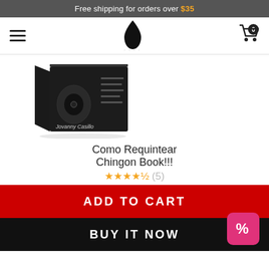Free shipping for orders over $35
[Figure (screenshot): Navigation bar with hamburger menu icon on left, flame/droplet logo in center, shopping cart icon with badge '0' on right]
[Figure (photo): Product box image - black book/guide titled 'Como Requintear Chingon' by Jovanny Casillo, featuring guitar imagery]
Como Requintear Chingon Book!!!
★★★★½ (5)
ADD TO CART
BUY IT NOW